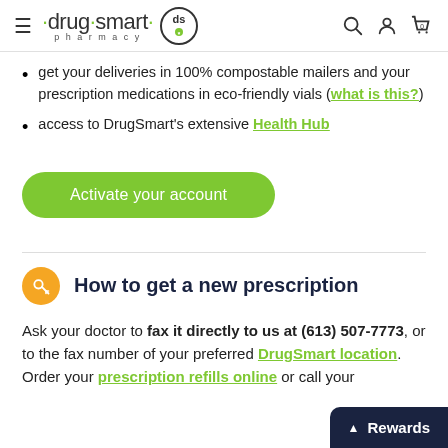drug smart pharmacy — navigation bar with logo, search, account, and cart icons
get your deliveries in 100% compostable mailers and your prescription medications in eco-friendly vials (what is this?)
access to DrugSmart's extensive Health Hub
Activate your account
4 How to get a new prescription
Ask your doctor to fax it directly to us at (613) 507-7773, or to the fax number of your preferred DrugSmart location. Order your prescription refills online or call your